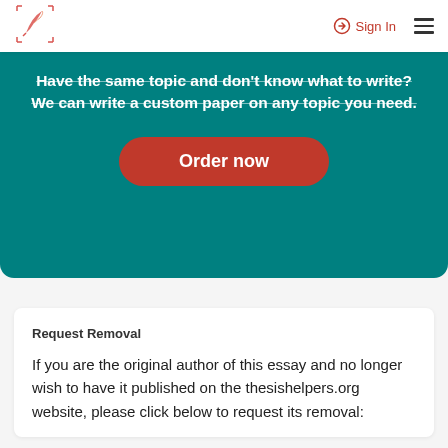[Figure (logo): Feather/pen logo icon in red-orange color with dotted corner marks]
Sign In
Have the same topic and don't know what to write? We can write a custom paper on any topic you need.
Order now
Request Removal
If you are the original author of this essay and no longer wish to have it published on the thesishelpers.org website, please click below to request its removal: